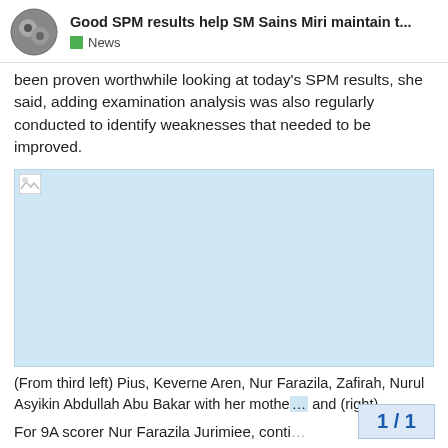Good SPM results help SM Sains Miri maintain t... | News
been proven worthwhile looking at today's SPM results, she said, adding examination analysis was also regularly conducted to identify weaknesses that needed to be improved.
[Figure (photo): A group photo, image not fully loaded (broken image placeholder shown)]
(From third left) Pius, Keverne Aren, Nur Farazila, Zafirah, Nurul Asyikin Abdullah Abu Bakar with her mothe... and (right)
For 9A scorer Nur Farazila Jurimiee, conti...
1 / 1